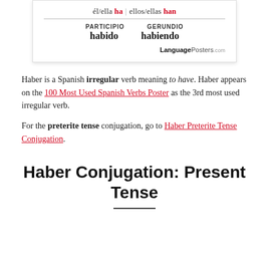[Figure (other): Conjugation card showing: él/ella ha | ellos/ellas han, PARTICIPIO habido, GERUNDIO habiendo, LanguagePosters.com brand]
Haber is a Spanish irregular verb meaning to have. Haber appears on the 100 Most Used Spanish Verbs Poster as the 3rd most used irregular verb.
For the preterite tense conjugation, go to Haber Preterite Tense Conjugation.
Haber Conjugation: Present Tense